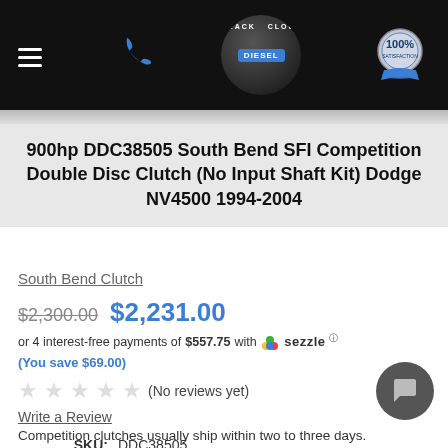Black Cloud Diesel — navigation header with hamburger menu, phone icon, logo, and 100% satisfaction badge
900hp DDC38505 South Bend SFI Competition Double Disc Clutch (No Input Shaft Kit) Dodge NV4500 1994-2004
South Bend Clutch
$2,300.00  $2,231.00
or 4 interest-free payments of $557.75 with Sezzle ⓘ (You save $69.00)
(No reviews yet)
Write a Review
| Field | Value |
| --- | --- |
| SKU: | DDC38505 |
| UPC: | DDC38505 |
Availability:
Competition clutches usually ship within two to three days.